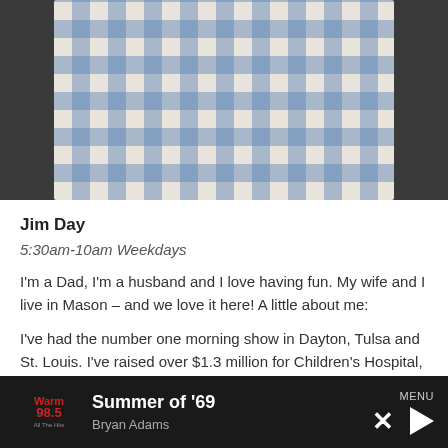[Figure (photo): Photo of a blue and white plaid/checkered shirt, cropped, against a dark background]
Jim Day
5:30am-10am Weekdays
I'm a Dad, I'm a husband and I love having fun. My wife and I live in Mason – and we love it here! A little about me:
I've had the number one morning show in Dayton, Tulsa and St. Louis. I've raised over $1.3 million for Children's Hospital, collected thousands of toys for girls and boys and filled countless semis with supplies
Summer of '69 | Bryan Adams | MENU | Warm 98.5